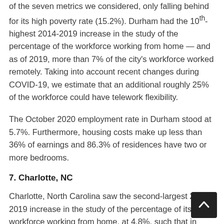of the seven metrics we considered, only falling behind for its high poverty rate (15.2%). Durham had the 10th-highest 2014-2019 increase in the study of the percentage of the workforce working from home — and as of 2019, more than 7% of the city's workforce worked remotely. Taking into account recent changes during COVID-19, we estimate that an additional roughly 25% of the workforce could have telework flexibility.
The October 2020 employment rate in Durham stood at 5.7%. Furthermore, housing costs make up less than 36% of earnings and 86.3% of residences have two or more bedrooms.
7. Charlotte, NC
Charlotte, North Carolina saw the second-largest 2014-2019 increase in the study of the percentage of its workforce working from home, at 4.8%, such that in 2019, 10.0% of workers were